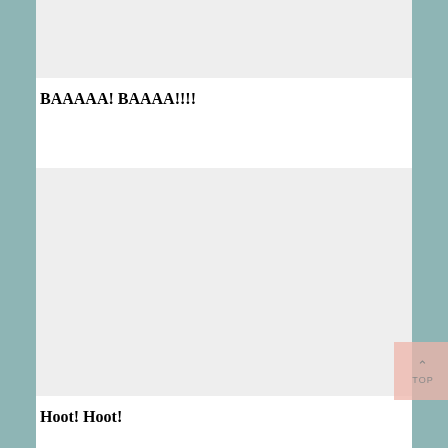[Figure (illustration): Light gray rectangular image placeholder at top of page]
BAAAAA! BAAAA!!!!
[Figure (illustration): Large light gray rectangular image placeholder in center of page]
Hoot!  Hoot!